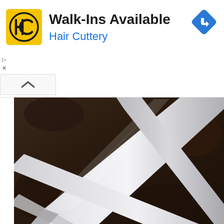[Figure (infographic): Hair Cuttery advertisement banner showing logo (yellow square with HC letters), headline 'Walk-Ins Available', subheading 'Hair Cuttery' in blue, and a blue navigation arrow icon in top right. Below the ad is a photo of close-up white wind turbine blades against a dark background.]
[Figure (photo): Close-up photograph of white wind turbine blades at an angle against a dark brown/black background, showing the smooth curved surfaces and structural details of the blades.]